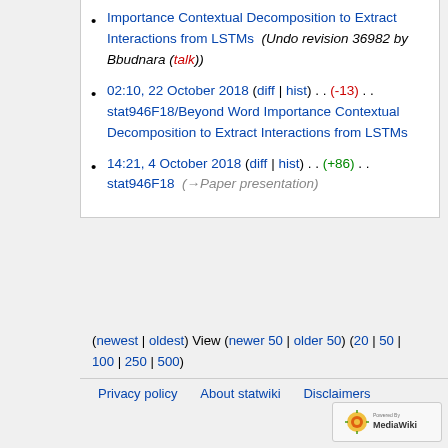Importance Contextual Decomposition to Extract Interactions from LSTMs  (Undo revision 36982 by Bbudnara (talk))
02:10, 22 October 2018 (diff | hist) . . (-13) . . stat946F18/Beyond Word Importance Contextual Decomposition to Extract Interactions from LSTMs
14:21, 4 October 2018 (diff | hist) . . (+86) . . stat946F18  (→Paper presentation)
(newest | oldest) View (newer 50 | older 50) (20 | 50 | 100 | 250 | 500)
Privacy policy   About statwiki   Disclaimers